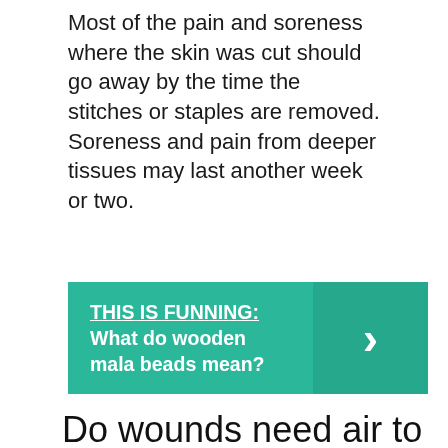Most of the pain and soreness where the skin was cut should go away by the time the stitches or staples are removed. Soreness and pain from deeper tissues may last another week or two.
[Figure (other): Teal banner with text: THIS IS FUNNING: What do wooden mala beads mean? with a right-arrow chevron on the right side]
Do wounds need air to heal?
A: Airing out most wounds isn't beneficial because wounds need moisture to heal. Leaving a wound uncovered may dry out new surface cells, which can increase pain or slow the healing process. Most wound treatments or coverings promote a moist —